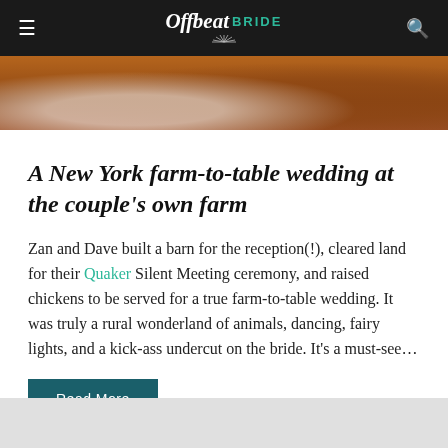Offbeat BRIDE
[Figure (photo): Hero image strip showing partial view of wedding couple — white dress and rust/burgundy trousers visible, outdoor farm setting]
A New York farm-to-table wedding at the couple's own farm
Zan and Dave built a barn for the reception(!), cleared land for their Quaker Silent Meeting ceremony, and raised chickens to be served for a true farm-to-table wedding. It was truly a rural wonderland of animals, dancing, fairy lights, and a kick-ass undercut on the bride. It's a must-see…